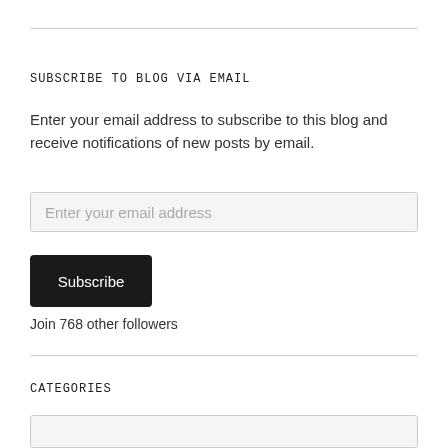SUBSCRIBE TO BLOG VIA EMAIL
Enter your email address to subscribe to this blog and receive notifications of new posts by email.
Enter your email address
Subscribe
Join 768 other followers
CATEGORIES